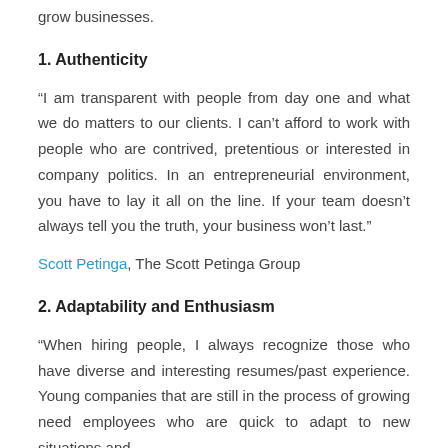grow businesses.
1. Authenticity
“I am transparent with people from day one and what we do matters to our clients. I can’t afford to work with people who are contrived, pretentious or interested in company politics. In an entrepreneurial environment, you have to lay it all on the line. If your team doesn’t always tell you the truth, your business won’t last.”
Scott Petinga, The Scott Petinga Group
2. Adaptability and Enthusiasm
“When hiring people, I always recognize those who have diverse and interesting resumes/past experience. Young companies that are still in the process of growing need employees who are quick to adapt to new situations and